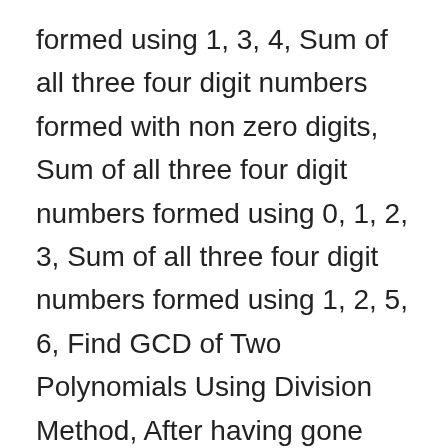formed using 1, 3, 4, Sum of all three four digit numbers formed with non zero digits, Sum of all three four digit numbers formed using 0, 1, 2, 3, Sum of all three four digit numbers formed using 1, 2, 5, 6, Find GCD of Two Polynomials Using Division Method, After having gone through the stuff given above, we hope that the students would have understood, ". Then, the line will make an angle each with the x-axis, y-axis, and z-axis respectively.The cosines of each of these angles that the line makes with the x-axis, y-axis, and z-axis respectively are called direction cosines of the line in three-dimensional geometry. In this video, we will learn how to find direction angles and direction cosines for a